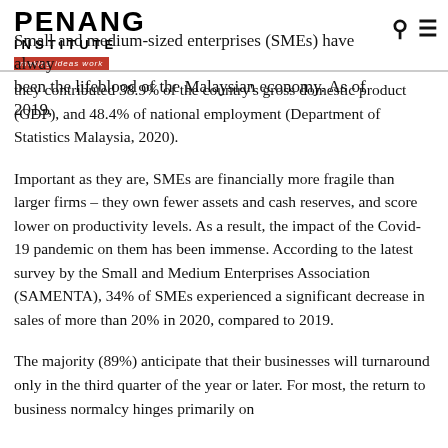Penang Institute — making ideas work
Small and medium-sized enterprises (SMEs) have always been the lifeblood of the Malaysian economy. As of 2019, they contributed 38.9% of the country's gross domestic product (GDP), and 48.4% of national employment (Department of Statistics Malaysia, 2020).
Important as they are, SMEs are financially more fragile than larger firms – they own fewer assets and cash reserves, and score lower on productivity levels. As a result, the impact of the Covid-19 pandemic on them has been immense. According to the latest survey by the Small and Medium Enterprises Association (SAMENTA), 34% of SMEs experienced a significant decrease in sales of more than 20% in 2020, compared to 2019.
The majority (89%) anticipate that their businesses will turnaround only in the third quarter of the year or later. For most, the return to business normalcy hinges primarily on